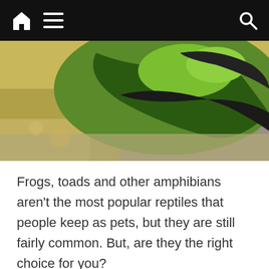Home menu Search
[Figure (photo): Close-up photo of a green and black patterned frog or amphibian viewed from above, with blurred yellow and grey background]
Frogs, toads and other amphibians aren't the most popular reptiles that people keep as pets, but they are still fairly common. But, are they the right choice for you?
So Many Choices
When you are trying to narrow down what reptile pet is right for you, the vast amount of